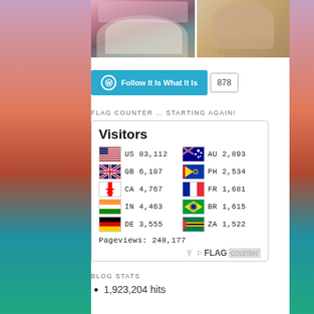[Figure (photo): Two photos side by side: left shows people at a floral event, right shows a man smiling]
[Figure (infographic): Follow It Is What It Is button with count 878]
FLAG COUNTER … STARTING AGAIN!
[Figure (infographic): Flag counter widget showing Visitors with country flags and counts: US 83,112 AU 2,893 GB 6,107 PH 2,534 CA 4,767 FR 1,681 IN 4,463 BR 1,615 DE 3,555 ZA 1,522. Pageviews: 248,177]
BLOG STATS
1,923,204 hits